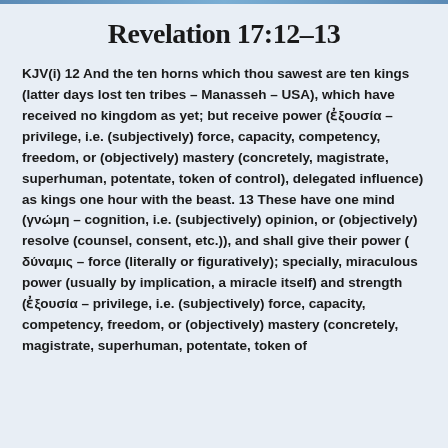Revelation 17:12-13
KJV(i) 12 And the ten horns which thou sawest are ten kings (latter days lost ten tribes – Manasseh – USA), which have received no kingdom as yet; but receive power (ἐξουσία – privilege, i.e. (subjectively) force, capacity, competency, freedom, or (objectively) mastery (concretely, magistrate, superhuman, potentate, token of control), delegated influence) as kings one hour with the beast. 13 These have one mind (γνώμη – cognition, i.e. (subjectively) opinion, or (objectively) resolve (counsel, consent, etc.)), and shall give their power ( δύναμις – force (literally or figuratively); specially, miraculous power (usually by implication, a miracle itself) and strength (ἐξουσία – privilege, i.e. (subjectively) force, capacity, competency, freedom, or (objectively) mastery (concretely, magistrate, superhuman, potentate, token of